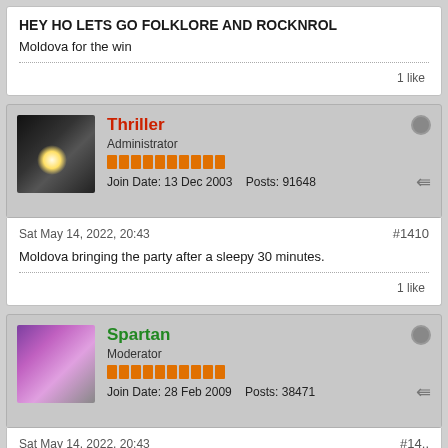HEY HO LETS GO FOLKLORE AND ROCKNROL
Moldova for the win
1 like
Thriller
Administrator
Join Date: 13 Dec 2003   Posts: 91648
Sat May 14, 2022, 20:43
#1410
Moldova bringing the party after a sleepy 30 minutes.
1 like
Spartan
Moderator
Join Date: 28 Feb 2009   Posts: 38471